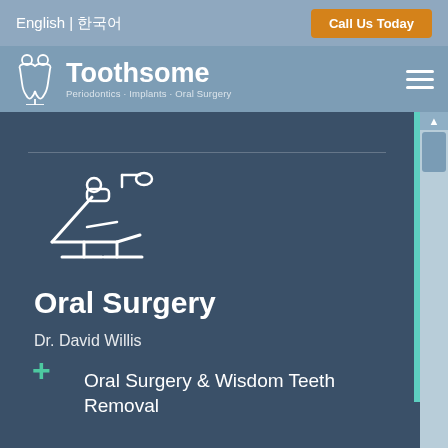English | 한국어
Call Us Today
Toothsome
Periodontics · Implants · Oral Surgery
[Figure (logo): Toothsome dental logo with tooth icon]
Oral Surgery
Dr. David Willis
[Figure (illustration): White outline icon of a dental chair/reclining patient chair]
Oral Surgery & Wisdom Teeth Removal
MAKE AN APPOINTMENT